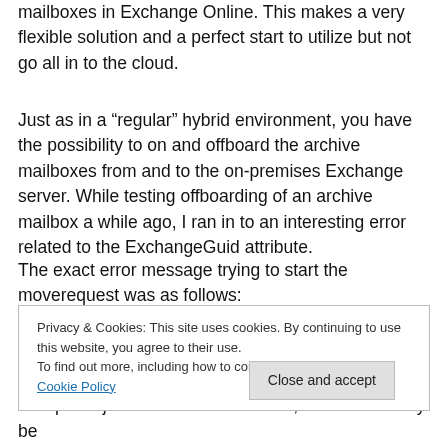mailboxes in Exchange Online. This makes a very flexible solution and a perfect start to utilize but not go all in to the cloud.
Just as in a “regular” hybrid environment, you have the possibility to on and offboard the archive mailboxes from and to the on-premises Exchange server. While testing offboarding of an archive mailbox a while ago, I ran in to an interesting error related to the ExchangeGuid attribute.
The exact error message trying to start the moverequest was as follows:
Privacy & Cookies: This site uses cookies. By continuing to use this website, you agree to their use.
To find out more, including how to control cookies, see here: Cookie Policy
Multiple objects with the same Guid, could that really be